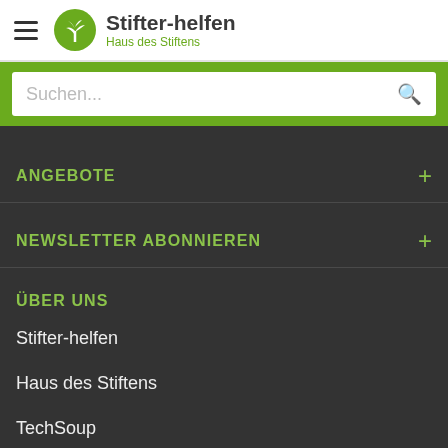Stifter-helfen Haus des Stiftens
Suchen...
ANGEBOTE
NEWSLETTER ABONNIEREN
ÜBER UNS
Stifter-helfen
Haus des Stiftens
TechSoup